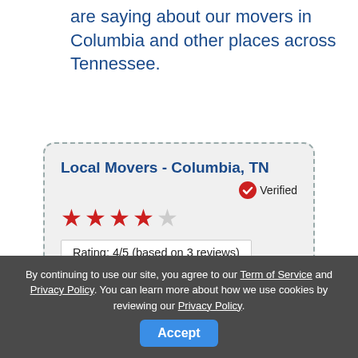are saying about our movers in Columbia and other places across Tennessee.
[Figure (infographic): Review card for Local Movers - Columbia, TN with verified badge, 4 out of 5 stars, rating 4/5 based on 3 reviews, and a customer quote.]
"These guys came in with the best price and the delivered the best move so all in all winning! Move went well and the staff was great, yes I will use them again."
Was this review helpful to you?
By continuing to use our site, you agree to our Term of Service and Privacy Policy. You can learn more about how we use cookies by reviewing our Privacy Policy.